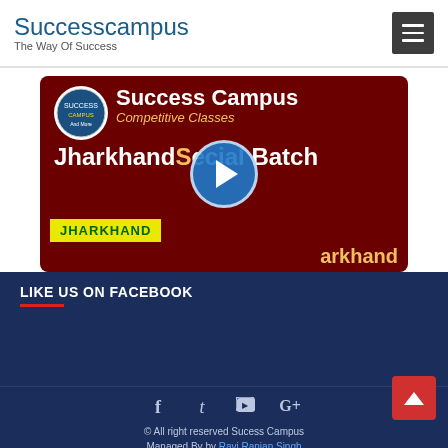Successcampus – The Way Of Success
[Figure (screenshot): Video thumbnail for Success Campus Competitive Classes – Jharkhand Special Batch, with play button overlay]
LIKE US ON FACEBOOK
© All right reserved Sucess Campus | Managed By by Ravi Ranjan Singh